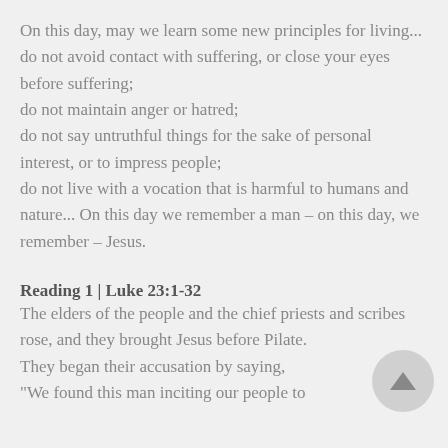On this day, may we learn some new principles for living... do not avoid contact with suffering, or close your eyes before suffering; do not maintain anger or hatred; do not say untruthful things for the sake of personal interest, or to impress people; do not live with a vocation that is harmful to humans and nature... On this day we remember a man – on this day, we remember – Jesus.
Reading 1 | Luke 23:1-32
The elders of the people and the chief priests and scribes rose, and they brought Jesus before Pilate. They began their accusation by saying, "We found this man inciting our people to